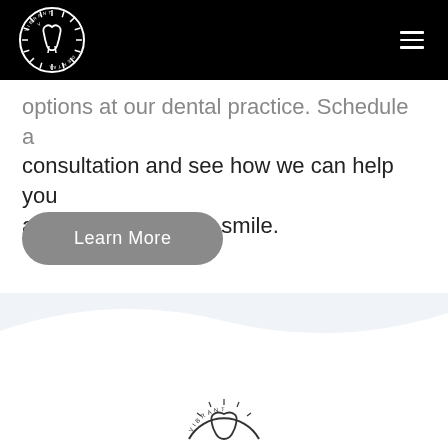[Figure (logo): Vibrant Dental circular logo in white on black background, with a tooth icon in the center and text VIBRANT DENTAL around the circle]
[Figure (logo): Hamburger menu icon (three horizontal white lines) on black background, top right corner]
options at our dental practice. Schedule a consultation and see how we can help you achieve your dream smile.
[Figure (other): Learn More button - gray rounded pill button with white text]
[Figure (other): Wave divider separating white section from light blue-gray section at bottom]
[Figure (logo): Vibrant Dental logo in dark ink at the bottom of the page, partially visible]